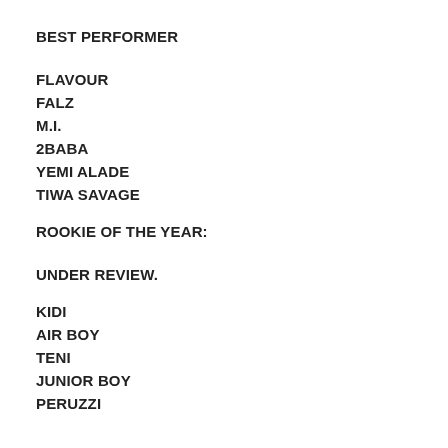BEST PERFORMER
FLAVOUR
FALZ
M.I.
2BABA
YEMI ALADE
TIWA SAVAGE
ROOKIE OF THE YEAR:
UNDER REVIEW.
KIDI
AIR BOY
TENI
JUNIOR BOY
PERUZZI